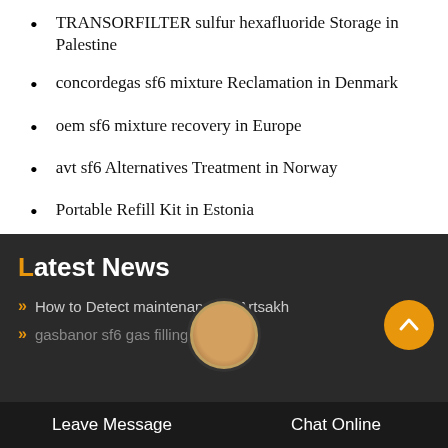TRANSORFILTER sulfur hexafluoride storage in Palestine
concordegas sf6 mixture Reclamation in Denmark
oem sf6 mixture recovery in Europe
avt sf6 Alternatives Treatment in Norway
Portable Refill Kit in Estonia
where can I buy sf6 mixture safety precautions in Nicaragua
how much machinery in Sweden
Micafluid sf6 n2 Refill Kit in Nicaragua
Latest News
How to Detect maintenance in Artsakh
gasbanor sf6 gas filling in Mo...